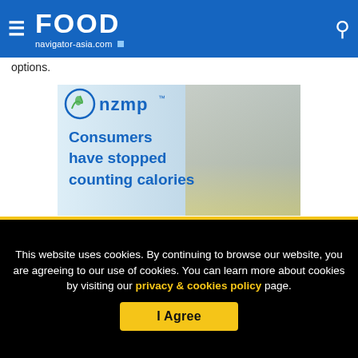FOOD navigator-asia.com
options.
[Figure (advertisement): NZMP advertisement showing a woman's profile and text 'Consumers have stopped counting calories']
This website uses cookies. By continuing to browse our website, you are agreeing to our use of cookies. You can learn more about cookies by visiting our privacy & cookies policy page.